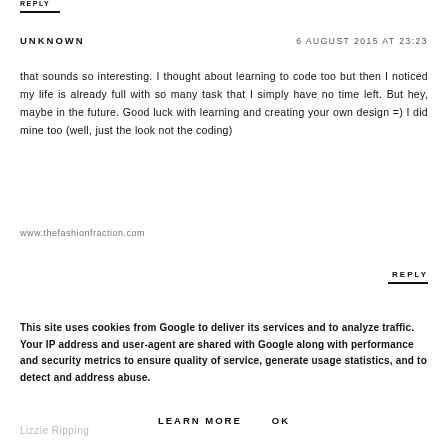REPLY
UNKNOWN — 6 AUGUST 2015 AT 23:23
that sounds so interesting. I thought about learning to code too but then I noticed my life is already full with so many task that I simply have no time left. But hey, maybe in the future. Good luck with learning and creating your own design =) I did mine too (well, just the look not the coding)
www.thefashionfraction.com
REPLY
This site uses cookies from Google to deliver its services and to analyze traffic. Your IP address and user-agent are shared with Google along with performance and security metrics to ensure quality of service, generate usage statistics, and to detect and address abuse.
LEARN MORE   OK